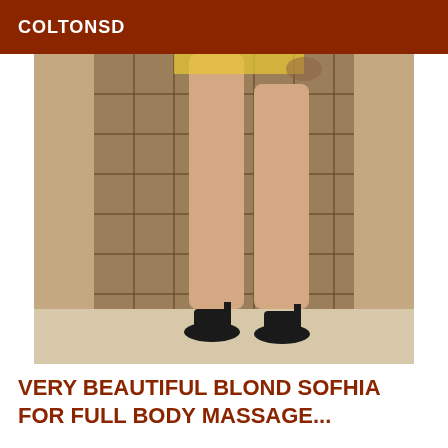COLTONSD
[Figure (photo): A person standing in high black heels, showing legs from the waist down, posed in front of a tiled wall backdrop.]
VERY BEAUTIFUL BLOND SOFHIA FOR FULL BODY MASSAGE...